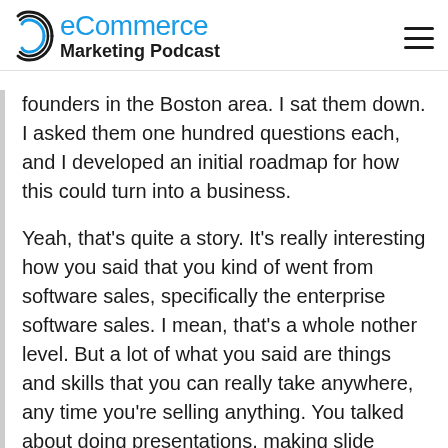[Figure (logo): eCommerce Marketing Podcast logo with arc/parenthesis graphic on left and text on right, plus hamburger menu icon top right]
founders in the Boston area. I sat them down. I asked them one hundred questions each, and I developed an initial roadmap for how this could turn into a business.
Yeah, that's quite a story. It's really interesting how you said that you kind of went from software sales, specifically the enterprise software sales. I mean, that's a whole nother level. But a lot of what you said are things and skills that you can really take anywhere, any time you're selling anything. You talked about doing presentations, making slide decks, pitching a particular product or service. Really these days, it just seems like no matter what it is that you're